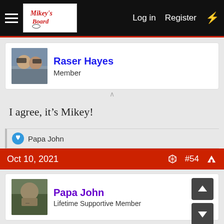Mikey's Board — Log in  Register
[Figure (screenshot): Raser Hayes avatar photo showing two people with sunglasses]
Raser Hayes
Member
I agree, it's Mikey!
Papa John
Oct 10, 2021  #54
[Figure (photo): Papa John avatar photo]
Papa John
Lifetime Supportive Member
FredC said: